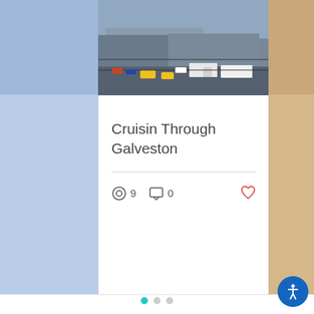[Figure (photo): Partial left card showing blue/light background, cropped]
[Figure (photo): Aerial photo of a port/logistics facility with trucks and yellow taxis visible]
Cruisin Through Galveston
9 views  0 comments  Like
[Figure (photo): Partial right card with warm tones, cropped at right edge]
[Figure (infographic): Pagination dots: 3 dots, first active (teal), two inactive (grey)]
[Figure (infographic): Magenta Twitter social section with white Twitter bird icon, teal newsletter subscription area with text input field and SUBSCRIBE FOR UPDATES text, back-to-top button (dark pink), and accessibility button (blue circle with person icon)]